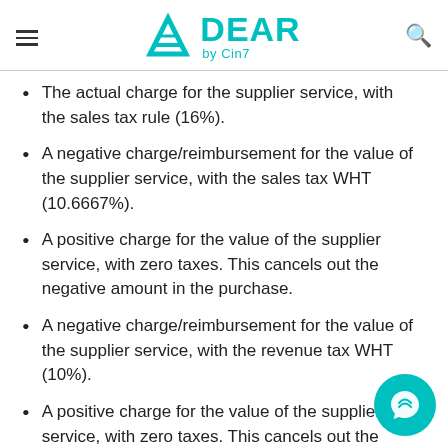DEAR by Cin7
The actual charge for the supplier service, with the sales tax rule (16%).
A negative charge/reimbursement for the value of the supplier service, with the sales tax WHT (10.6667%).
A positive charge for the value of the supplier service, with zero taxes. This cancels out the negative amount in the purchase.
A negative charge/reimbursement for the value of the supplier service, with the revenue tax WHT (10%).
A positive charge for the value of the supplier service, with zero taxes. This cancels out the negative amount in the purchase.